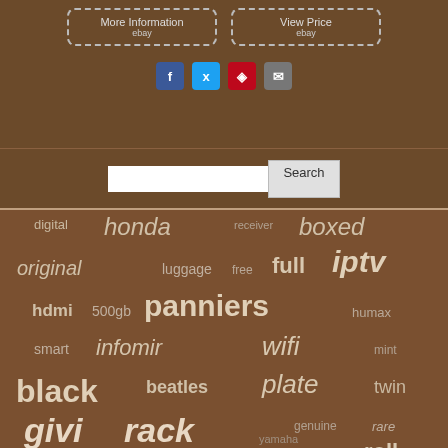[Figure (screenshot): Two dashed-border eBay buttons: 'More Information / ebay' and 'View Price / ebay', followed by social share icons for Facebook, Twitter, Pinterest, and Email]
[Figure (screenshot): Search bar with text input and 'Search' button on brown background]
[Figure (infographic): Tag cloud on brown background with words in varying sizes: digital, honda, receiver, boxed, original, luggage, free, full, iptv, hdmi, 500gb, panniers, humax, smart, infomir, wifi, mint, black, beatles, plate, twin, givi, rack, genuine, rare, freeview, case, ultra, roll, yamaha]